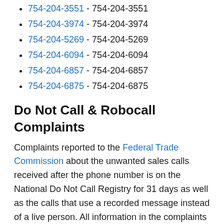754-204-3551 - 754-204-3551
754-204-3974 - 754-204-3974
754-204-5269 - 754-204-5269
754-204-6094 - 754-204-6094
754-204-6857 - 754-204-6857
754-204-6875 - 754-204-6875
Do Not Call & Robocall Complaints
Complaints reported to the Federal Trade Commission about the unwanted sales calls received after the phone number is on the National Do Not Call Registry for 31 days as well as the calls that use a recorded message instead of a live person. All information in the complaints provided by consumers and not verified.
Unwanted Call Complaints
Complaints reported to the Federal Communications